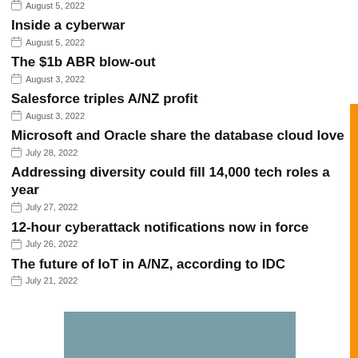August 5, 2022
Inside a cyberwar
August 5, 2022
The $1b ABR blow-out
August 3, 2022
Salesforce triples A/NZ profit
August 3, 2022
Microsoft and Oracle share the database cloud love
July 28, 2022
Addressing diversity could fill 14,000 tech roles a year
July 27, 2022
12-hour cyberattack notifications now in force
July 26, 2022
The future of IoT in A/NZ, according to IDC
July 21, 2022
[Figure (photo): Partial image strip at bottom of page]